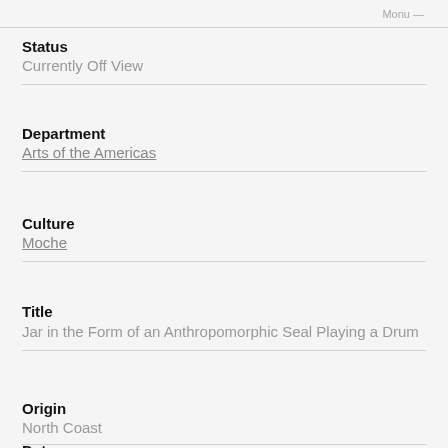Status
Currently Off View
Department
Arts of the Americas
Culture
Moche
Title
Jar in the Form of an Anthropomorphic Seal Playing a Drum
Origin
North Coast
Date